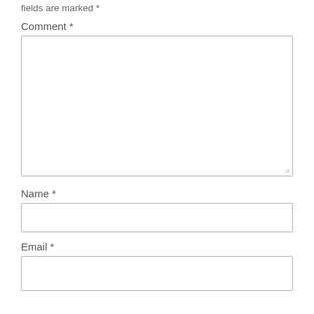fields are marked *
Comment *
[Figure (other): Large comment textarea input box with resize handle at bottom right]
Name *
[Figure (other): Single-line name text input box]
Email *
[Figure (other): Single-line email text input box (partially visible)]